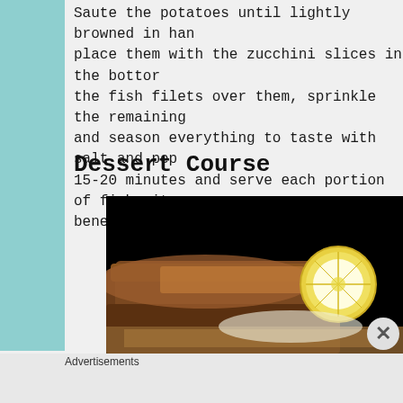Saute the potatoes until lightly browned in half, place them with the zucchini slices in the bottom, the fish filets over them, sprinkle the remaining, and season everything to taste with salt and pep, 15-20 minutes and serve each portion of fish with beneath it.
Dessert Course
[Figure (photo): Dark background photo of what appears to be a baked/broiled fish or bread loaf with a sliced lemon on top, close-up food photography]
Advertisements